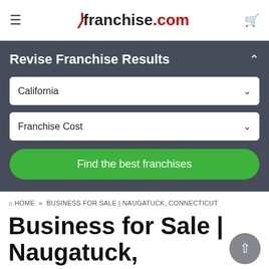franchise.com
Revise Franchise Results
California
Franchise Cost
Find the best franchises
HOME » BUSINESS FOR SALE | NAUGATUCK, CONNECTICUT
Business for Sale | Naugatuck, Connecticut
Discover business opportunities, in or around Naugatuck,